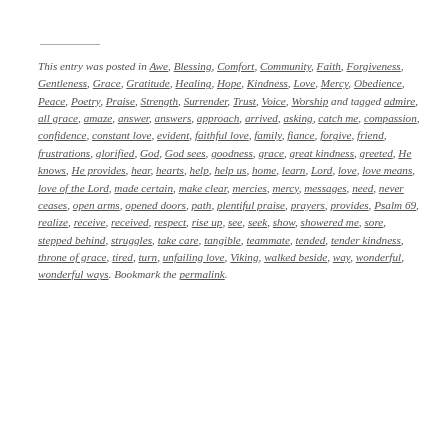This entry was posted in Awe, Blessing, Comfort, Community, Faith, Forgiveness, Gentleness, Grace, Gratitude, Healing, Hope, Kindness, Love, Mercy, Obedience, Peace, Poetry, Praise, Strength, Surrender, Trust, Voice, Worship and tagged admire, all grace, amaze, answer, answers, approach, arrived, asking, catch me, compassion, confidence, constant love, evident, faithful love, family, fiance, forgive, friend, frustrations, glorified, God, God sees, goodness, grace, great kindness, greeted, He knows, He provides, hear, hearts, help, help us, home, learn, Lord, love, love means, love of the Lord, made certain, make clear, mercies, mercy, messages, need, never ceases, open arms, opened doors, path, plentiful praise, prayers, provides, Psalm 69, realize, receive, received, respect, rise up, see, seek, show, showered me, sore, stepped behind, struggles, take care, tangible, teammate, tended, tender kindness, throne of grace, tired, turn, unfailing love, Viking, walked beside, way, wonderful, wonderful ways. Bookmark the permalink.